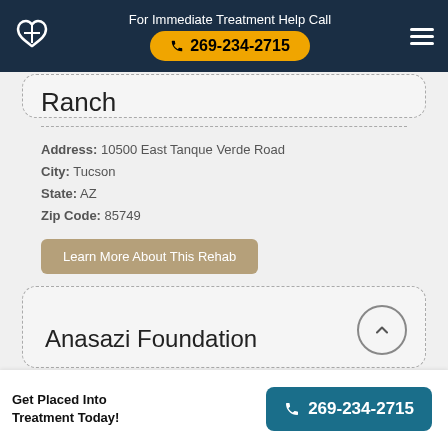For Immediate Treatment Help Call 269-234-2715
Ranch
Address: 10500 East Tanque Verde Road
City: Tucson
State: AZ
Zip Code: 85749
Learn More About This Rehab
Anasazi Foundation
Get Placed Into Treatment Today! 269-234-2715